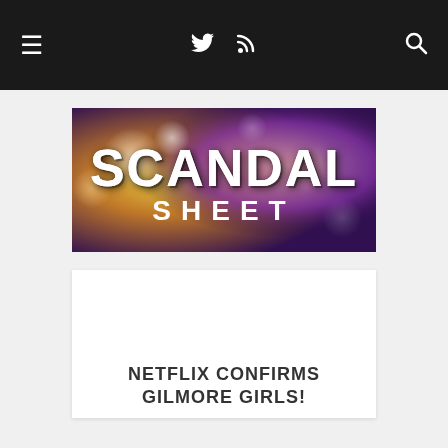☰  𝕏  )))  🔍
[Figure (logo): Scandal Sheet logo banner with dramatic bokeh lighting in gold and purple tones. Text reads SCANDAL SHEET in large white bold letters.]
[Figure (other): White advertisement/content placeholder area]
NETFLIX CONFIRMS GILMORE GIRLS!